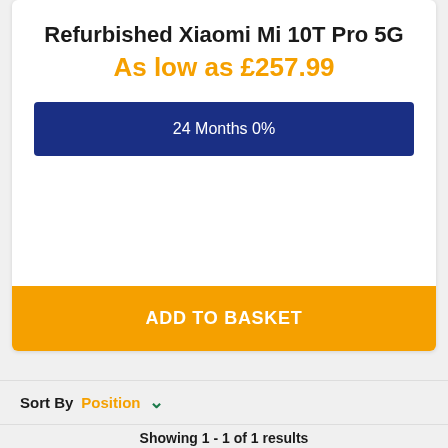Refurbished Xiaomi Mi 10T Pro 5G
As low as £257.99
24 Months 0%
ADD TO BASKET
Sort By Position
Showing 1 - 1 of 1 results